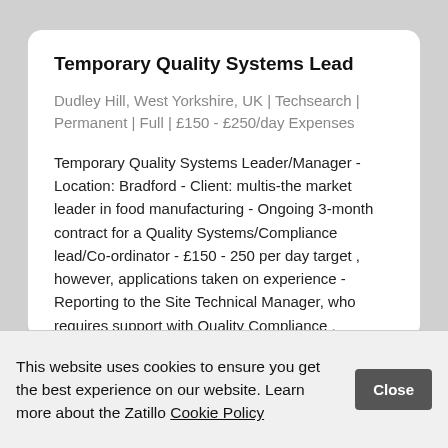Temporary Quality Systems Lead
Dudley Hill, West Yorkshire, UK | Techsearch | Permanent | Full | £150 - £250/day Expenses
Temporary Quality Systems Leader/Manager - Location: Bradford - Client: multis-the market leader in food manufacturing - Ongoing 3-month contract for a Quality Systems/Compliance lead/Co-ordinator - £150 - 250 per day target , however, applications taken on experience - Reporting to the Site Technical Manager, who requires support with Quality Compliance , Systems and Technical administration - Ensuring that the HACCP
This website uses cookies to ensure you get the best experience on our website. Learn more about the Zatillo Cookie Policy